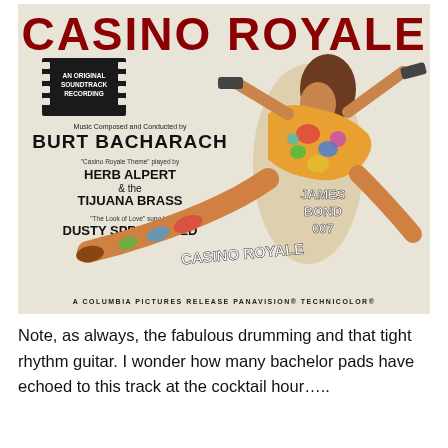[Figure (illustration): Album cover for Casino Royale soundtrack. Beige/cream background with large red 'CASINO ROYALE' title at top. Left side has a film strip badge reading 'An Original Soundtrack Recording', text crediting Burt Bacharach as composer, Herb Alpert & the Tijuana Brass for Casino Royale Theme, and Dusty Springfield for 'The Look of Love'. Right side features a painted female figure in a leaping/splits pose with colorful psychedelic body paint showing playing card suits, flowers, and the text 'JAMES BOND 007 CASINO ROYALE' on the body. Bottom reads 'A Columbia Pictures Release  Panavision  Technicolor'.]
Note, as always, the fabulous drumming and that tight rhythm guitar. I wonder how many bachelor pads have echoed to this track at the cocktail hour.....